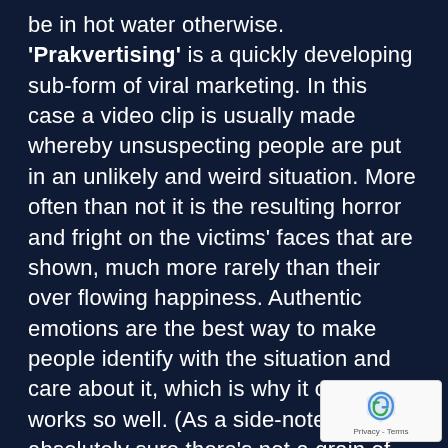be in hot water otherwise. 'Prakvertising' is a quickly developing sub-form of viral marketing. In this case a video clip is usually made whereby unsuspecting people are put in an unlikely and weird situation. More often than not it is the resulting horror and fright on the victims' faces that are shown, much more rarely than their over flowing happiness. Authentic emotions are the best way to make people identify with the situation and care about it, which is why it often works so well. (As a side-note I'm absolutely sure there's not a grain of authenticity in those clips and that they are all staged. In most cases I have seen the proof too). Still, it adds up—who would think that a huge company could wilfully scare people and film it, without getting their heads sued off? It's also very hard to film an improvised event that is not under the control of a director. It just doesn't look good afterwards. The camera angles are wrong, emotions are wrong and the reaction of the people
[Figure (other): reCAPTCHA badge with logo and Privacy - Terms text]